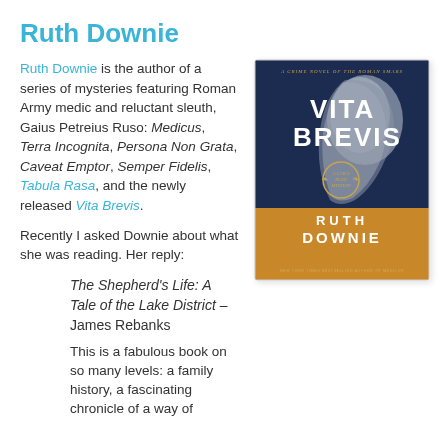Ruth Downie
Ruth Downie is the author of a series of mysteries featuring Roman Army medic and reluctant sleuth, Gaius Petreius Ruso: Medicus, Terra Incognita, Persona Non Grata, Caveat Emptor, Semper Fidelis, Tabula Rasa, and the newly released Vita Brevis.
[Figure (photo): Book cover of Vita Brevis by Ruth Downie. Dark navy background at top with a sculptural profile face in grey tones. Large white bold text reads VITA BREVIS. A circular gold badge reads A Gaius Ruso Mystery. Lower portion has a gold/amber background with text RUTH DOWNIE. Subtitle text at very bottom reads New York Times Bestselling Author of Medicus.]
Recently I asked Downie about what she was reading. Her reply:
The Shepherd's Life: A Tale of the Lake District – James Rebanks
This is a fabulous book on so many levels: a family history, a fascinating chronicle of a way of